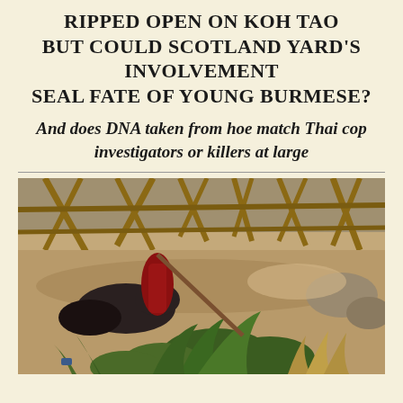RIPPED OPEN ON KOH TAO BUT COULD SCOTLAND YARD'S INVOLVEMENT SEAL FATE OF YOUNG BURMESE?
And does DNA taken from hoe match Thai cop investigators or killers at large
[Figure (photo): Crime scene photo showing a body on the ground surrounded by bamboo fencing, plants and foliage on Koh Tao island]